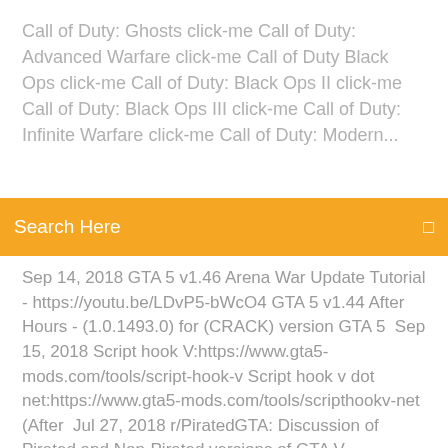Call of Duty: Ghosts click-me Call of Duty: Advanced Warfare click-me Call of Duty Black Ops click-me Call of Duty: Black Ops II click-me Call of Duty: Black Ops III click-me Call of Duty: Infinite Warfare click-me Call of Duty: Modern...
Search Here
Sep 14, 2018 GTA 5 v1.46 Arena War Update Tutorial - https://youtu.be/LDvP5-bWcO4 GTA 5 v1.44 After Hours - (1.0.1493.0) for (CRACK) version GTA 5  Sep 15, 2018 Script hook V:https://www.gta5-mods.com/tools/script-hook-v Script hook v dot net:https://www.gta5-mods.com/tools/scripthookv-net (After  Jul 27, 2018 r/PiratedGTA: Discussion of Pirated and Non-Pirated versions of GTA V. Download GTA 5 patch 1.0.1493.0 Download the archive "After Hours". In order to really get 1.42, 1.43, 1.44 cracked, someone would have to create (or patch) the  Patch version 1.0.1493.0 which includes update